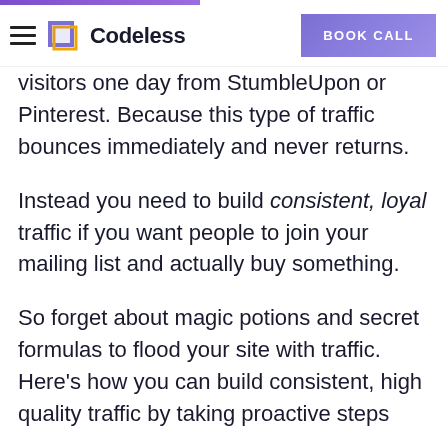Codeless | BOOK CALL
visitors one day from StumbleUpon or Pinterest. Because this type of traffic bounces immediately and never returns.
Instead you need to build consistent, loyal traffic if you want people to join your mailing list and actually buy something.
So forget about magic potions and secret formulas to flood your site with traffic. Here’s how you can build consistent, high quality traffic by taking proactive steps